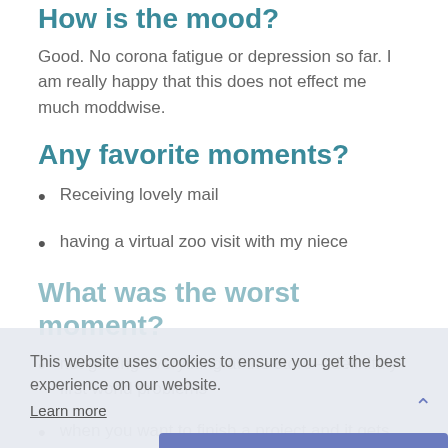How is the mood?
Good. No corona fatigue or depression so far. I am really happy that this does not effect me much moddwise.
Any favorite moments?
Receiving lovely mail
having a virtual zoo visit with my niece
What was the worst moment?
not getting everything at the store – definitely first world problems
when you want to finish a project and it gets stuck 5 minutes from completion with no apparent solution
This website uses cookies to ensure you get the best experience on our website.
Learn more
Refuse Cookies
Allow Cookies